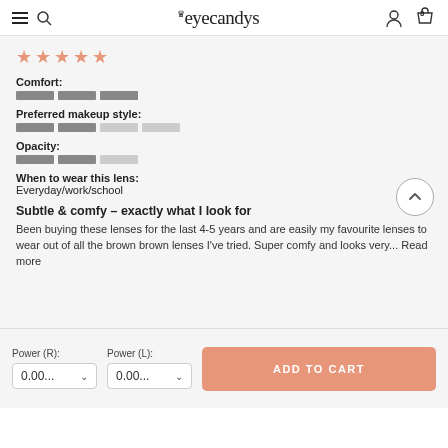eyecandys
[Figure (other): 5 star rating shown with salmon/pink star icons]
Comfort:
[Figure (other): 3 dark gray bar segments representing comfort rating]
Preferred makeup style:
[Figure (other): 2 dark gray and 2 light gray bar segments representing makeup style rating]
Opacity:
[Figure (other): 2 dark gray and 1 light gray bar segment representing opacity rating]
When to wear this lens: Everyday/work/school
Subtle & comfy – exactly what I look for
Been buying these lenses for the last 4-5 years and are easily my favourite lenses to wear out of all the brown brown lenses I've tried. Super comfy and looks very... Read more
Power (R):
Power (L):
ADD TO CART